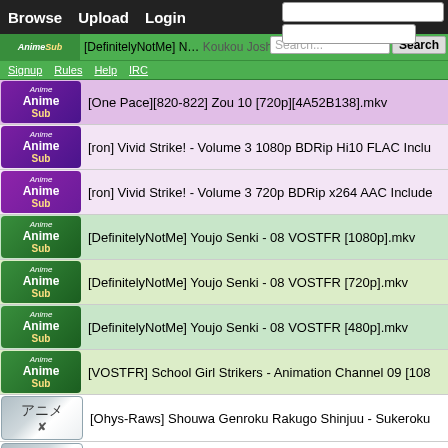Browse  Upload  Login | All categories ▾ | Show all ▾ | Search... [Search]
[DefinitelyNotMe] Koukou Joshi Jitensha...
Signup  Rules  Help  IRC
[One Pace][820-822] Zou 10 [720p][4A52B138].mkv
[ron] Vivid Strike! - Volume 3 1080p BDRip Hi10 FLAC Inclu...
[ron] Vivid Strike! - Volume 3 720p BDRip x264 AAC Include...
[DefinitelyNotMe] Youjo Senki - 08 VOSTFR [1080p].mkv
[DefinitelyNotMe] Youjo Senki - 08 VOSTFR [720p].mkv
[DefinitelyNotMe] Youjo Senki - 08 VOSTFR [480p].mkv
[VOSTFR] School Girl Strikers - Animation Channel 09 [108...
[Ohys-Raws] Shouwa Genroku Rakugo Shinjuu - Sukeroku...
[Fabrebatalla18][RAW] Detective Conan [Remastered]
[FASubs TTF] Inuyasha - 100 [DVD] [056C0E57].mkv
[Chinurarete Subs]Hand Shakers - 06 [10BIT][GERSUB]